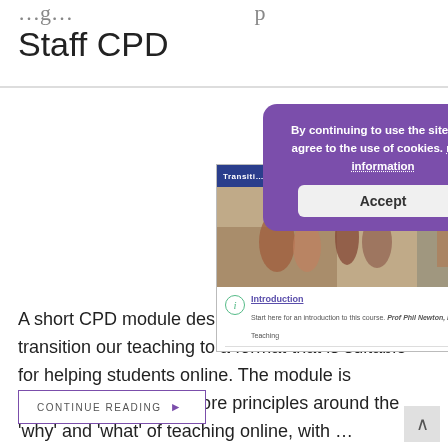Staff CPD
[Figure (screenshot): Screenshot of an online course page titled 'Transition to Online...' with a cookie consent banner overlay (purple background) saying 'By continuing to use the site, you agree to the use of cookies. more information' with an Accept button. Below shows a course introduction section with an info icon, 'Introduction' link, and description text mentioning Prof Phil Newton, Medical School Director of Teaching.]
A short CPD module designed to help us all transition our teaching to a format that is suitable for helping students online. The module is designed to help with core principles around the ‘why’ and ‘what’ of teaching online, with …
CONTINUE READING ▸